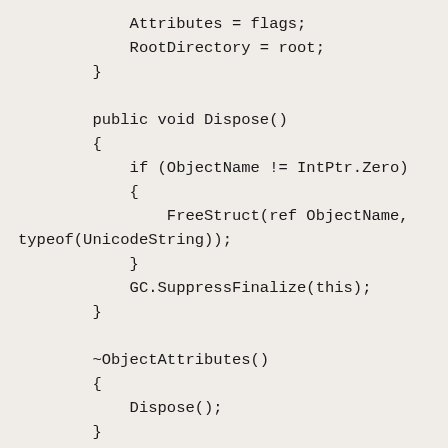Attributes = flags;
            RootDirectory = root;
        }

        public void Dispose()
        {
            if (ObjectName != IntPtr.Zero)
            {
                FreeStruct(ref ObjectName,
typeof(UnicodeString));
            }
            GC.SuppressFinalize(this);
        }

        ~ObjectAttributes()
        {
            Dispose();
        }
    }